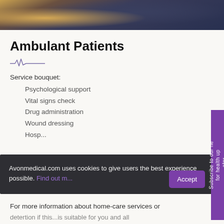[Figure (photo): Close-up photo of two people, one in yellow clothing and one in dark navy, appearing to shake or hold hands — a medical or care-related gesture.]
Ambulant Patients
Service bouquet:
Psychological support
Vital signs check
Drug administration
Wound dressing
Hosp...
Avonmedical.com uses cookies to give users the best experience possible. Find out m...
For more information about home-care services or
deter...tion if this...is suitable for...